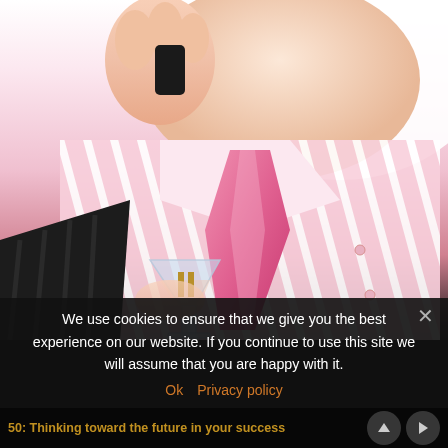[Figure (photo): A man in a pink striped dress shirt and pink tie holding a martini glass, with his hand raised near his mouth, wearing a dark suit jacket. Cookie consent overlay visible at the bottom.]
We use cookies to ensure that we give you the best experience on our website. If you continue to use this site we will assume that you are happy with it.
Ok   Privacy policy
50: Thinking toward the future in your success